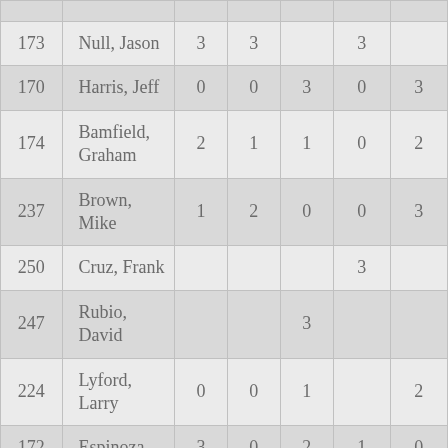| ID | Name | Col3 | Col4 | Col5 | Col6 | Col7 |
| --- | --- | --- | --- | --- | --- | --- |
| 173 | Null, Jason | 3 | 3 |  | 3 |  |
| 170 | Harris, Jeff | 0 | 0 | 3 | 0 | 3 |
| 174 | Bamfield, Graham | 2 | 1 | 1 | 0 | 2 |
| 237 | Brown, Mike | 1 | 2 | 0 | 0 | 3 |
| 250 | Cruz, Frank |  |  |  | 3 |  |
| 247 | Rubio, David |  |  | 3 |  |  |
| 224 | Lyford, Larry | 0 | 0 | 1 |  | 2 |
| 172 | Espinoza, | 3 | 0 | 2 | 1 | 0 |